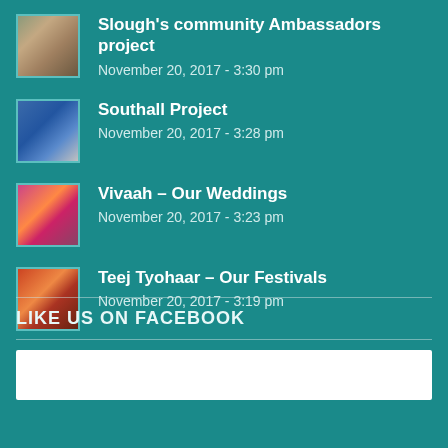Slough's community Ambassadors project
November 20, 2017 - 3:30 pm
Southall Project
November 20, 2017 - 3:28 pm
Vivaah – Our Weddings
November 20, 2017 - 3:23 pm
Teej Tyohaar – Our Festivals
November 20, 2017 - 3:19 pm
LIKE US ON FACEBOOK
[Figure (other): Facebook widget embed area (white rectangle)]